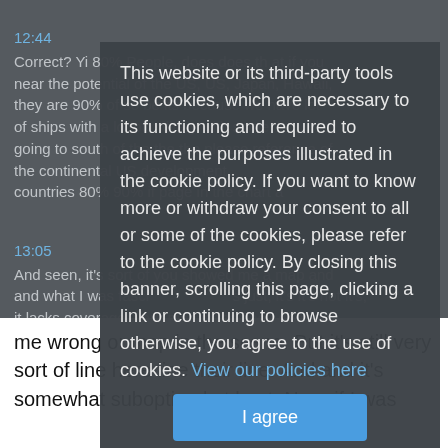12:44
Correct? Yi 80% People, does does th at if you near the potential of the US, US, Japan, Hawaii, they are 90% of so be its because we have lot of ships with a lot of military with some going to south of the the the please reference of the continental US development countries 80% 90% if page in the chart a
[Figure (screenshot): Cookie consent overlay banner on a dark background website. The banner reads: 'This website or its third-party tools use cookies, which are necessary to its functioning and required to achieve the purposes illustrated in the cookie policy. If you want to know more or withdraw your consent to all or some of the cookies, please refer to the cookie policy. By closing this banner, scrolling this page, clicking a link or continuing to browse otherwise, you agree to the use of cookies. View our policies here' with an 'I agree' button.]
13:05
And seen, it's sort of you showed me a map and and what I was fasci... just, it's it's not it's, it lacks coverage, your map in the floor, don't get me wrong or map in the scene. But it's still very sort of line here line their line. And and it's somewhat suboptimal at best. Now, if I was